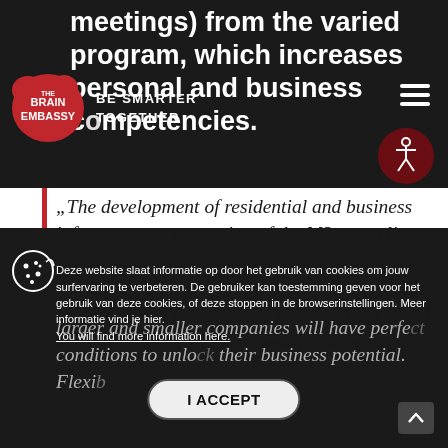meetings) from the varied program, which increases personal and business competencies.
[Figure (logo): The Brain Embassy logo - red cloud shape with white text 'The Brain Embassy' and tagline 'BE SMARTER TOGETHER']
„The development of residential and business infrastructure, expansion of the M2 metro line, and reasonable plan for the district's progress made Wola a very interesting place to work and live. Balanced development attracts a big group of people, aware of their needs, and desiring
Deze website slaat informatie op door het gebruik van cookies om jouw surfervaring te verbeteren. De gebruiker kan toestemming geven voor het gebruik van deze cookies, of deze stoppen in de browserinstellingen. Meer informatie vind je hier. You will find more information here.
larger and smaller companies will have perfect conditions to unlock their business potential. Flexi...